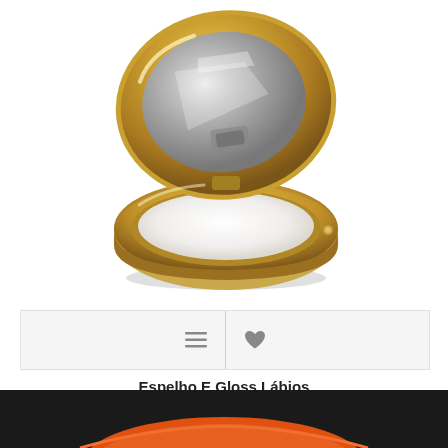[Figure (photo): Open gold compact powder/lip gloss mirror product with white cream inside, gold metallic casing, photographed on white background]
[Figure (infographic): Action bar with hamburger menu icon and heart/wishlist icon on light grey background with vertical divider]
Espelho E Gloss Lábios
€1,95
[Figure (photo): Bottom dark bar showing partial image of orange/red product on black background]